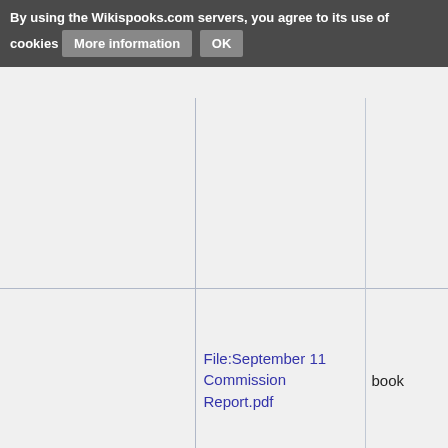By using the Wikispooks.com servers, you agree to its use of cookies  More information  OK
|  |  | File | Type | Date |
| --- | --- | --- | --- | --- |
|  |  |  |  |  |
|  |  | File:September 11 Commission Report.pdf | book |  |